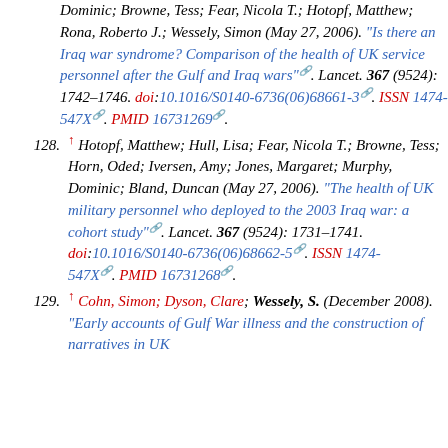(continuation) Dominic; Browne, Tess; Fear, Nicola T.; Hotopf, Matthew; Rona, Roberto J.; Wessely, Simon (May 27, 2006). "Is there an Iraq war syndrome? Comparison of the health of UK service personnel after the Gulf and Iraq wars". Lancet. 367 (9524): 1742–1746. doi:10.1016/S0140-6736(06)68661-3. ISSN 1474-547X. PMID 16731269.
128. ^ Hotopf, Matthew; Hull, Lisa; Fear, Nicola T.; Browne, Tess; Horn, Oded; Iversen, Amy; Jones, Margaret; Murphy, Dominic; Bland, Duncan (May 27, 2006). "The health of UK military personnel who deployed to the 2003 Iraq war: a cohort study". Lancet. 367 (9524): 1731–1741. doi:10.1016/S0140-6736(06)68662-5. ISSN 1474-547X. PMID 16731268.
129. ^ Cohn, Simon; Dyson, Clare; Wessely, S. (December 2008). "Early accounts of Gulf War illness and the construction of narratives in UK